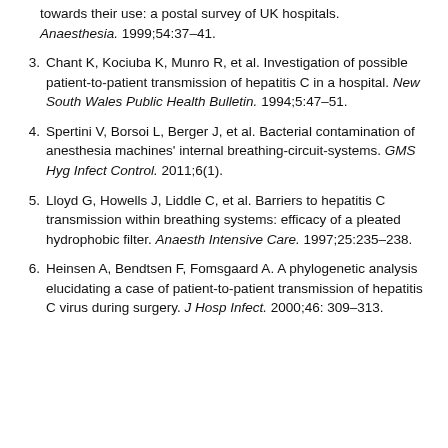towards their use: a postal survey of UK hospitals. Anaesthesia. 1999;54:37–41.
3. Chant K, Kociuba K, Munro R, et al. Investigation of possible patient-to-patient transmission of hepatitis C in a hospital. New South Wales Public Health Bulletin. 1994;5:47–51.
4. Spertini V, Borsoi L, Berger J, et al. Bacterial contamination of anesthesia machines' internal breathing-circuit-systems. GMS Hyg Infect Control. 2011;6(1).
5. Lloyd G, Howells J, Liddle C, et al. Barriers to hepatitis C transmission within breathing systems: efficacy of a pleated hydrophobic filter. Anaesth Intensive Care. 1997;25:235–238.
6. Heinsen A, Bendtsen F, Fomsgaard A. A phylogenetic analysis elucidating a case of patient-to-patient transmission of hepatitis C virus during surgery. J Hosp Infect. 2000;46: 309–313.